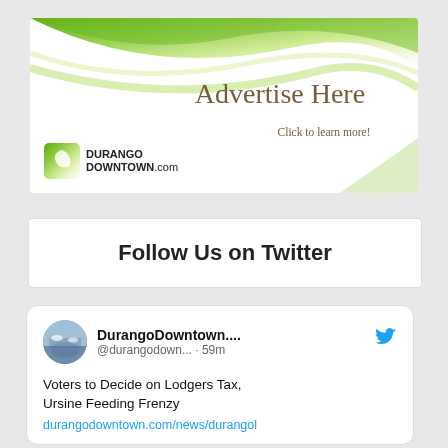[Figure (illustration): Advertise Here banner for DurangoDowntown.com with green swirl design. Text reads 'Advertise Here', 'Click to learn more!', and shows the DurangoDowntown.com logo with a green leaf icon.]
Follow Us on Twitter
[Figure (screenshot): Twitter widget/tweet card showing DurangoDowntown.... account (@durangodown... · 59m) with tweet text: 'Voters to Decide on Lodgers Tax, Ursine Feeding Frenzy' and link durangodowntown.com/news/durangol]